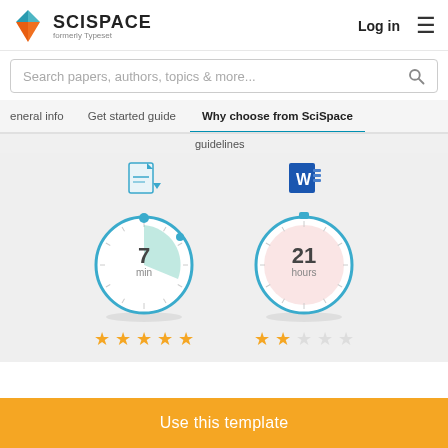[Figure (logo): SciSpace logo with teal and orange geometric diamond shape, text SCISPACE formerly Typeset]
Log in
≡
Search papers, authors, topics & more...
General info   Get started guide   Why choose from SciSpace
guidelines
[Figure (infographic): Two timer/stopwatch illustrations side by side. Left timer shows 7 min with teal/green accent and a document icon above. Right timer shows 21 hours with pink/rose accent and a Word document icon above. Left has 5 gold stars, right has 2 gold stars and 3 empty stars.]
Use this template